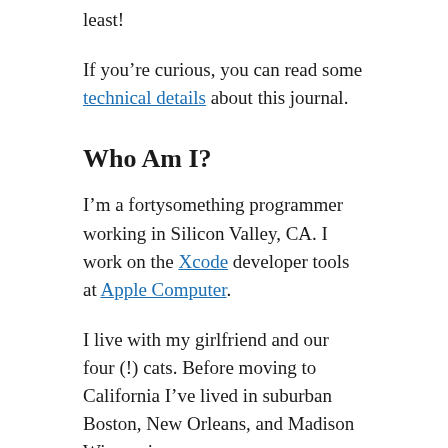least!
If you're curious, you can read some technical details about this journal.
Who Am I?
I'm a fortysomething programmer working in Silicon Valley, CA. I work on the Xcode developer tools at Apple Computer.
I live with my girlfriend and our four (!) cats. Before moving to California I've lived in suburban Boston, New Orleans, and Madison Wisconsin.